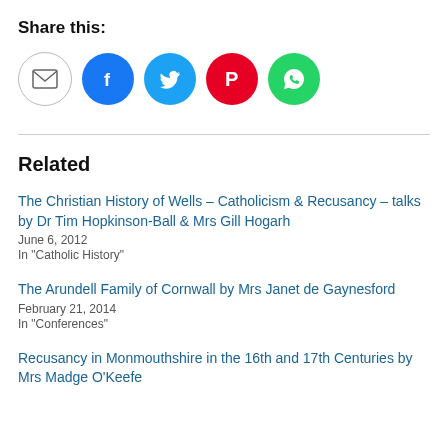Share this:
[Figure (infographic): Row of social sharing icon buttons: email (grey circle), Facebook (blue circle with f), Twitter (blue circle with bird), Pinterest (red circle with P), WhatsApp (green circle with phone)]
Related
The Christian History of Wells – Catholicism & Recusancy – talks by Dr Tim Hopkinson-Ball & Mrs Gill Hogarh
June 6, 2012
In "Catholic History"
The Arundell Family of Cornwall by Mrs Janet de Gaynesford
February 21, 2014
In "Conferences"
Recusancy in Monmouthshire in the 16th and 17th Centuries by Mrs Madge O'Keefe